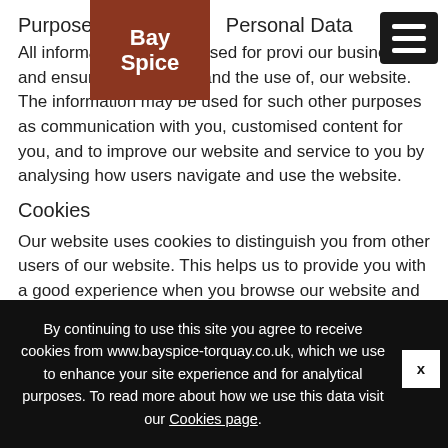[Figure (logo): Bay Spice logo — brown square with white bold text reading 'Bay Spice']
Purpose of Personal Data
All information collected from you is used for providing our business services to you and ensuring access to, and the use of, our website. The information may be used for such other purposes as communication with you, customised content for you, and to improve our website and service to you by analysing how users navigate and use the website.
Cookies
Our website uses cookies to distinguish you from other users of our website. This helps us to provide you with a good experience when you browse our website and also
By continuing to use this site you agree to receive cookies from www.bayspice-torquay.co.uk, which we use to enhance your site experience and for analytical purposes. To read more about how we use this data visit our Cookies page.